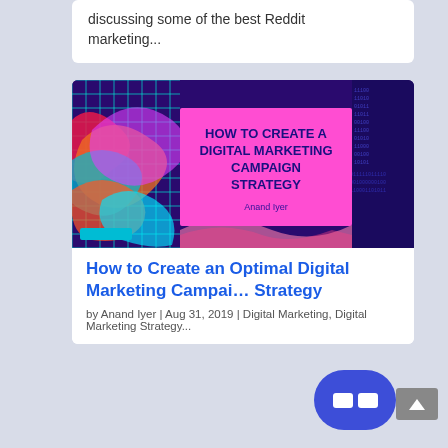discussing some of the best Reddit marketing...
[Figure (illustration): Blog post thumbnail image with colorful swirling marble design on the left, a pink rectangle in the center with bold dark blue text reading 'HOW TO CREATE A DIGITAL MARKETING CAMPAIGN STRATEGY' and author name 'Anand Iyer', and binary code pattern on the right side over a dark blue/purple background.]
How to Create an Optimal Digital Marketing Campaign Strategy
by Anand Iyer | Aug 31, 2019 | Digital Marketing, Digital Marketing Strategy...